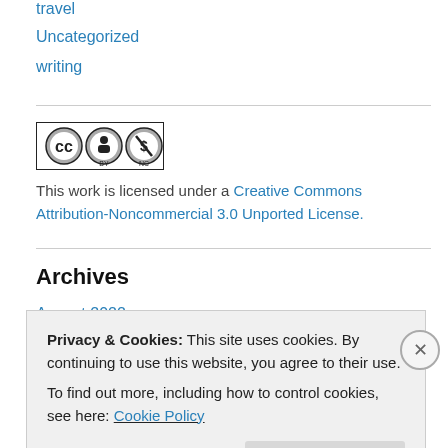travel
Uncategorized
writing
[Figure (logo): Creative Commons CC BY NC license badge with three circular icons]
This work is licensed under a Creative Commons Attribution-Noncommercial 3.0 Unported License.
Archives
August 2022
Privacy & Cookies: This site uses cookies. By continuing to use this website, you agree to their use.
To find out more, including how to control cookies, see here: Cookie Policy
Close and accept